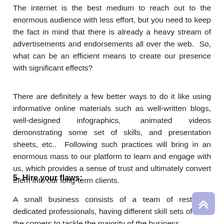The internet is the best medium to reach out to the enormous audience with less effort, but you need to keep the fact in mind that there is already a heavy stream of advertisements and endorsements all over the web.  So, what can be an efficient means to create our presence with significant effects?
There are definitely a few better ways to do it like using informative online materials such as well-written blogs, well-designed infographics, animated videos demonstrating some set of skills, and presentation sheets, etc..  Following such practices will bring in an enormous mass to our platform to learn and engage with us, which provides a sense of trust and ultimately convert them into our long-term clients.
5- Hire your flaws:
A small business consists of a team of restricted dedicated professionals, having different skill sets of all of the corners to tackle the majority of the business